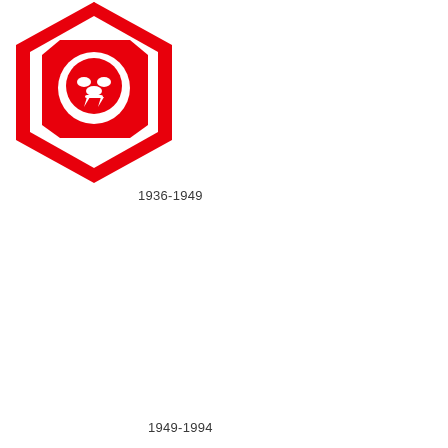[Figure (logo): Red hexagonal badge logo with a stylized lion face and angular geometric shapes, red on white background, 1936-1949 era]
1936-1949
1949-1994